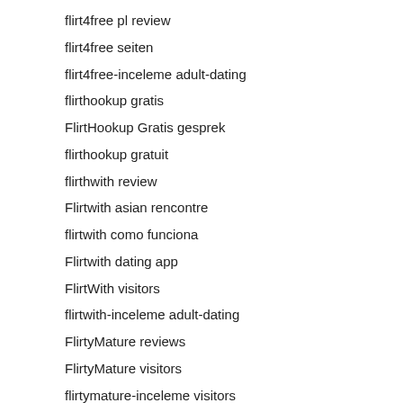flirt4free pl review
flirt4free seiten
flirt4free-inceleme adult-dating
flirthookup gratis
FlirtHookup Gratis gesprek
flirthookup gratuit
flirthwith review
Flirtwith asian rencontre
flirtwith como funciona
Flirtwith dating app
FlirtWith visitors
flirtwith-inceleme adult-dating
FlirtyMature reviews
FlirtyMature visitors
flirtymature-inceleme visitors
Florida payday loans
Food
Foot Fetish Dating wil app